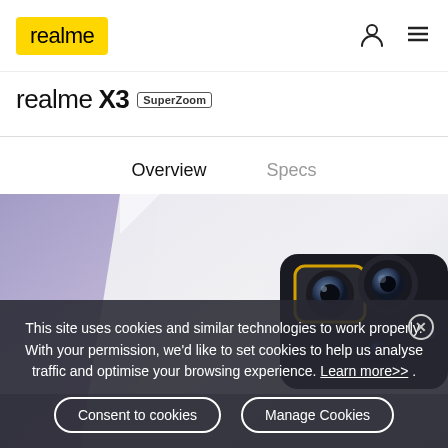realme
realme X3 SuperZoom
Overview | Specs
[Figure (photo): Close-up photo of the back of a realme X3 SuperZoom smartphone showing the periscope zoom camera module with multiple lenses on a white/silver body]
This site uses cookies and similar technologies to work properly. With your permission, we'd like to set cookies to help us analyse traffic and optimise your browsing experience. Learn more>> .
Consent to cookies | Manage Cookies